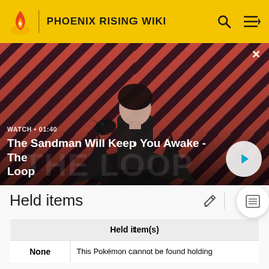PHOENIX RISING WIKI
[Figure (screenshot): Video thumbnail banner for 'The Sandman Will Keep You Awake - The Loop' with a dark-cloaked figure against a red diagonal-stripe background. Shows WATCH · 01:40 label and a play button.]
WATCH · 01:40
The Sandman Will Keep You Awake - The Loop
Held items
| Held item(s) |
| --- |
| None | This Pokémon cannot be found holding |